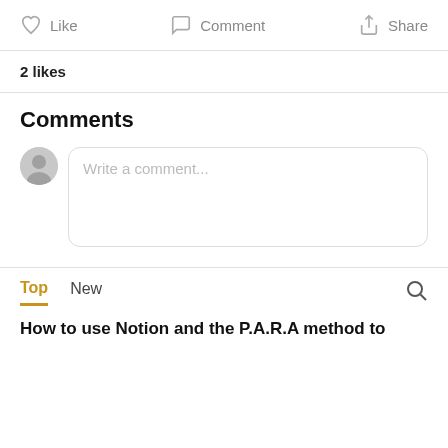Like  Comment  Share
2 likes
Comments
Write a comment...
Top  New
How to use Notion and the P.A.R.A method to